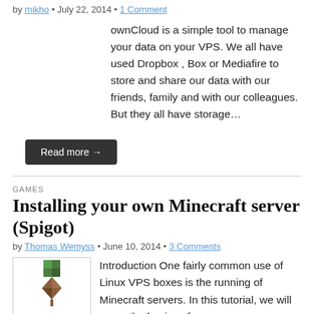by mikho • July 22, 2014 • 1 Comment
ownCloud is a simple tool to manage your data on your VPS. We all have used Dropbox , Box or Mediafire to store and share our data with our friends, family and with our colleagues. But they all have storage…
Read more →
GAMES
Installing your own Minecraft server (Spigot)
by Thomas Wemyss • June 10, 2014 • 3 Comments
[Figure (logo): Minecraft logo with diamond pickaxe graphic and MINECRAFT text]
Introduction One fairly common use of Linux VPS boxes is the running of Minecraft servers. In this tutorial, we will cover the basics of